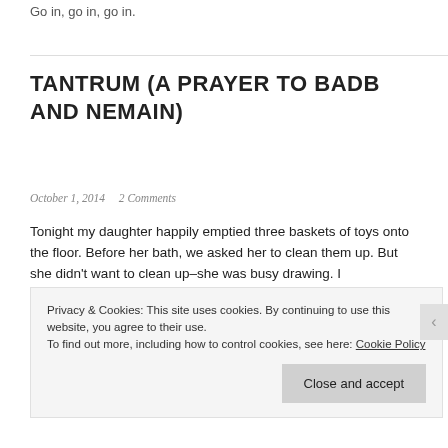Go in, go in, go in.
TANTRUM (A PRAYER TO BADB AND NEMAIN)
October 1, 2014   2 Comments
Tonight my daughter happily emptied three baskets of toys onto the floor. Before her bath, we asked her to clean them up. But she didn't want to clean up–she was busy drawing. I
Privacy & Cookies: This site uses cookies. By continuing to use this website, you agree to their use.
To find out more, including how to control cookies, see here: Cookie Policy
[Close and accept]